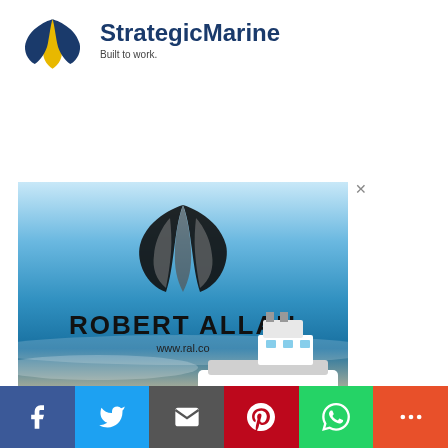[Figure (logo): Strategic Marine logo with stylized dark blue and gold leaf/wing icon and text 'StrategicMarine Built to work.']
[Figure (photo): Robert Allan advertisement banner showing a tugboat at sea with ocean background, Robert Allan logo (stylized leaf/ribbon symbol), company name 'ROBERT ALLAN' and website 'www.ral.co', with an X close button in top right corner]
[Figure (infographic): Social media sharing bar at bottom with buttons for Facebook (blue), Twitter (light blue), Email (dark grey), Pinterest (red), WhatsApp (green), and More (orange-red)]